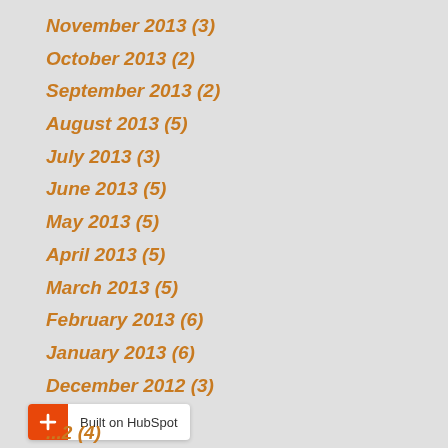November 2013 (3)
October 2013 (2)
September 2013 (2)
August 2013 (5)
July 2013 (3)
June 2013 (5)
May 2013 (5)
April 2013 (5)
March 2013 (5)
February 2013 (6)
January 2013 (6)
December 2012 (3)
...2 (4)